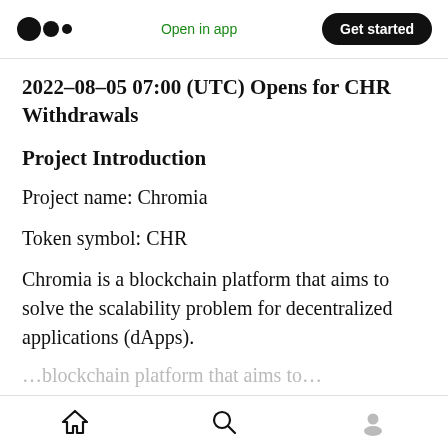Medium logo | Open in app | Get started
2022–08–05 07:00 (UTC) Opens for CHR Withdrawals
Project Introduction
Project name: Chromia
Token symbol: CHR
Chromia is a blockchain platform that aims to solve the scalability problem for decentralized applications (dApps).
Home | Search | Profile